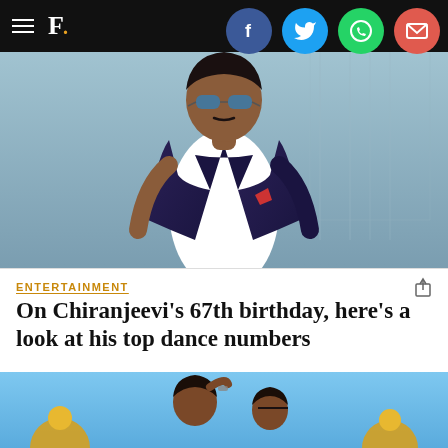F.
[Figure (photo): Hero image of Chiranjeevi wearing sunglasses and a jacket, with a light blue background]
ENTERTAINMENT
On Chiranjeevi's 67th birthday, here's a look at his top dance numbers
It was with Manavoori Pandavulu in 1978 that Chiranjeevi rose to prominence. Following this, he experimented with his style in films like Mosagadu (1980), Rani Kasula Rangamma (1981) and Nyayam Kavali (1981).
[Figure (photo): Bottom strip showing Chiranjeevi in a colorful scene with golden decorations and blue sky background]